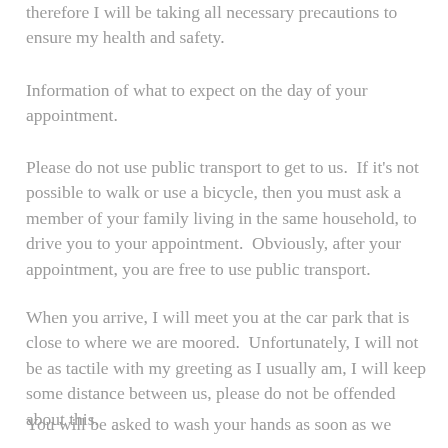therefore I will be taking all necessary precautions to ensure my health and safety.
Information of what to expect on the day of your appointment.
Please do not use public transport to get to us.  If it's not possible to walk or use a bicycle, then you must ask a member of your family living in the same household, to drive you to your appointment.  Obviously, after your appointment, you are free to use public transport.
When you arrive, I will meet you at the car park that is close to where we are moored.  Unfortunately, I will not be as tactile with my greeting as I usually am, I will keep some distance between us, please do not be offended about this.
You will be asked to wash your hands as soon as we